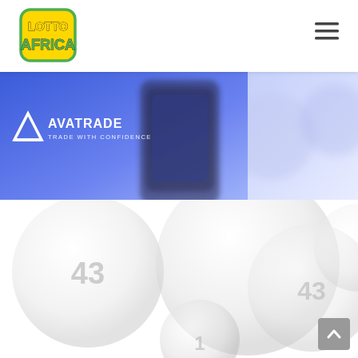[Figure (logo): Lotto Africa logo — yellow rounded rectangle with green outline, yellow text LOTTO above green text AFRICA]
[Figure (other): Hamburger menu icon (three horizontal lines) in top right corner]
[Figure (infographic): AvaTrade banner advertisement with blue gradient background, AVA / AVATRADE TRADE WITH CONFIDENCE logo on left, blurred dark smartphone on right]
[Figure (photo): Background photo of white lotto balls with numbers 43 and 1 visible, faded/blurred overlapping balls filling the lower half of the page]
[Figure (other): Grey scroll-to-top button with upward chevron arrow in bottom right corner]